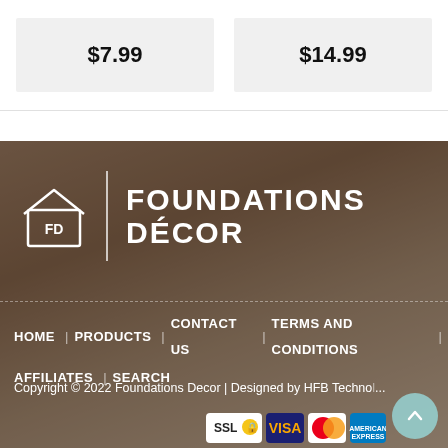$7.99
$14.99
[Figure (logo): Foundations Décor logo with house icon, vertical divider, and brand name in white on brown background]
HOME | PRODUCTS | CONTACT US | TERMS AND CONDITIONS | AFFILIATES | SEARCH
Copyright © 2022 Foundations Decor | Designed by HFB Techno...
[Figure (other): Payment icons: SSL, Visa, MasterCard, American Express]